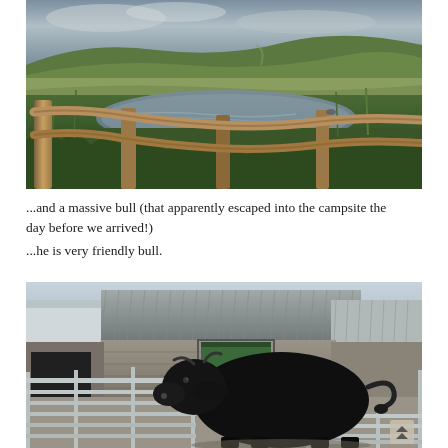[Figure (photo): Scenic rural landscape photo showing a wooden fence in the foreground, a small river or pond in the middle ground, lush green vegetation, rolling hills and farmland in the background under a cloudy sky at dusk or dawn.]
...and a massive bull (that apparently escaped into the campsite the day before we arrived!) ...he is very friendly bull.
[Figure (photo): Photo of a large black bull standing in a farmyard pen with metal railings, with stone farm buildings and corrugated metal roofs visible in the background.]